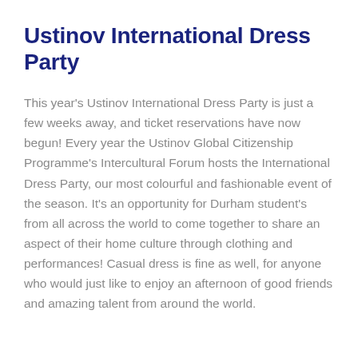Ustinov International Dress Party
This year's Ustinov International Dress Party is just a few weeks away, and ticket reservations have now begun! Every year the Ustinov Global Citizenship Programme's Intercultural Forum hosts the International Dress Party, our most colourful and fashionable event of the season. It's an opportunity for Durham student's from all across the world to come together to share an aspect of their home culture through clothing and performances! Casual dress is fine as well, for anyone who would just like to enjoy an afternoon of good friends and amazing talent from around the world.